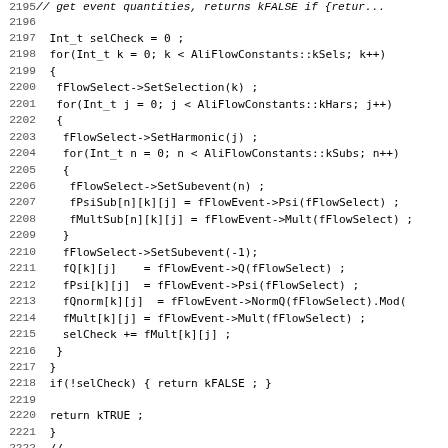Source code listing lines 2195-2227, C++ AliFlowAnalyser implementation